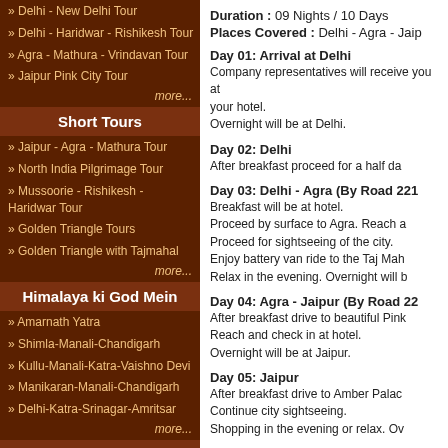» Delhi - New Delhi Tour
» Delhi - Haridwar - Rishikesh Tour
» Agra - Mathura - Vrindavan Tour
» Jaipur Pink City Tour
more...
Short Tours
» Jaipur - Agra - Mathura Tour
» North India Pilgrimage Tour
» Mussoorie - Rishikesh - Haridwar Tour
» Golden Triangle Tours
» Golden Triangle with Tajmahal
more...
Himalaya ki God Mein
» Amarnath Yatra
» Shimla-Manali-Chandigarh
» Kullu-Manali-Katra-Vaishno Devi
» Manikaran-Manali-Chandigarh
» Delhi-Katra-Srinagar-Amritsar
more...
Weekend Tours India
» Delhi-Amritsar-Delhi Tour
» Delhi-Corbett-Delhi Tour
Duration : 09 Nights / 10 Days
Places Covered : Delhi - Agra - Jaip...
Day 01: Arrival at Delhi
Company representatives will receive you at your hotel.
Overnight will be at Delhi.
Day 02: Delhi
After breakfast proceed for a half day...
Day 03: Delhi - Agra (By Road 221...
Breakfast will be at hotel.
Proceed by surface to Agra. Reach a...
Proceed for sightseeing of the city.
Enjoy battery van ride to the Taj Mah...
Relax in the evening. Overnight will b...
Day 04: Agra - Jaipur (By Road 22...
After breakfast drive to beautiful Pink...
Reach and check in at hotel.
Overnight will be at Jaipur.
Day 05: Jaipur
After breakfast drive to Amber Palac...
Continue city sightseeing.
Shopping in the evening or relax. Ov...
Day 06: Jaipur - Jodhpur (By Road...
Breakfast will be at hotel. Proceed to...
Overnight will be at Jodhpur.